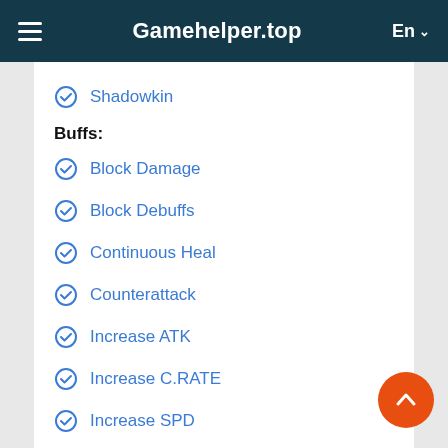Gamehepler.top
Shadowkin
Buffs:
Block Damage
Block Debuffs
Continuous Heal
Counterattack
Increase ATK
Increase C.RATE
Increase SPD
Increase DEF
Reflect Damage
Revive On Death